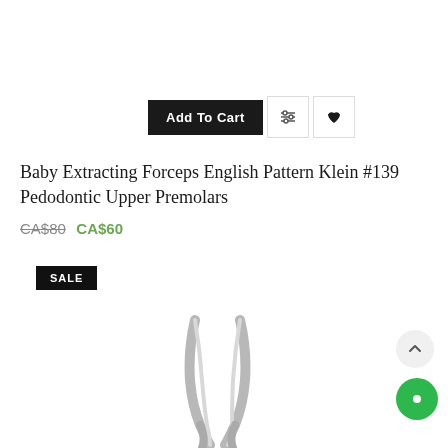[Figure (other): Add to Cart button with filter icon and heart/wishlist icon]
Baby Extracting Forceps English Pattern Klein #139 Pedodontic Upper Premolars
CA$80 CA$60
[Figure (other): SALE badge label]
[Figure (photo): Product photo of dental extracting forceps, silver/metal color, showing two views of the curved tips]